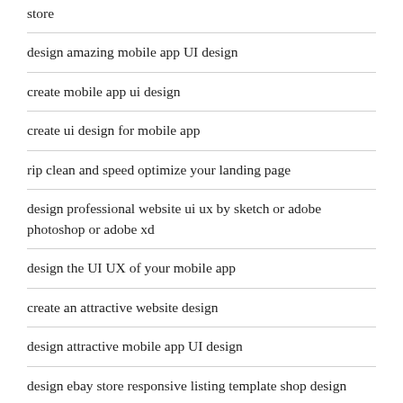store
design amazing mobile app UI design
create mobile app ui design
create ui design for mobile app
rip clean and speed optimize your landing page
design professional website ui ux by sketch or adobe photoshop or adobe xd
design the UI UX of your mobile app
create an attractive website design
design attractive mobile app UI design
design ebay store responsive listing template shop design